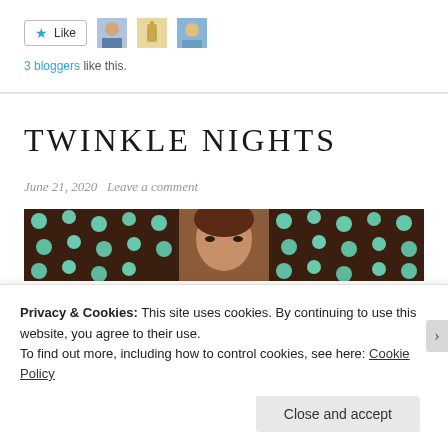[Figure (other): Like button with star icon and three blogger avatar thumbnails]
3 bloggers like this.
TWINKLE NIGHTS
June 21, 2020   Leave a comment
[Figure (photo): Photo of a woman with teal bokeh lights in background]
Privacy & Cookies: This site uses cookies. By continuing to use this website, you agree to their use.
To find out more, including how to control cookies, see here: Cookie Policy
Close and accept